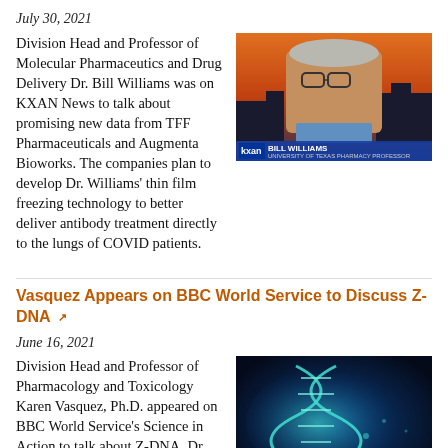July 30, 2021
[Figure (photo): Screenshot of a KXAN News broadcast showing Dr. Bill Williams, identified as 'BILL WILLIAMS – University of Texas Pharmacy Professor', appearing via video call with a sunset cityscape background]
Division Head and Professor of Molecular Pharmaceutics and Drug Delivery Dr. Bill Williams was on KXAN News to talk about promising new data from TFF Pharmaceuticals and Augmenta Bioworks. The companies plan to develop Dr. Williams' thin film freezing technology to better deliver antibody treatment directly to the lungs of COVID patients.
Vasquez Appears on BBC World Service to Discuss Z-DNA
June 16, 2021
[Figure (photo): Artistic/scientific illustration of a blue-glowing DNA double helix strand on a dark blue background]
Division Head and Professor of Pharmacology and Toxicology Karen Vasquez, Ph.D. appeared on BBC World Service's Science in Action to talk about Z-DNA. Dr. Vasquez's research focuses on DNA damage